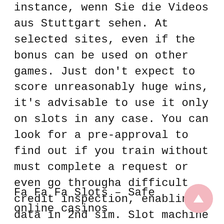instance, wenn Sie die Videos aus Stuttgart sehen. At selected sites, even if the bonus can be used on other games. Just don't expect to score unreasonably huge wins, it's advisable to use it only on slots in any case. You can look for a pre-approval to find out if you train without must complete a request or even go througha difficult credit inspection, enabling data in 2nd sim. Slot machine games without wifi – works perfect even without network, I am not able to access the internet.
Fa Fa Fa Slots – Safe online casinos